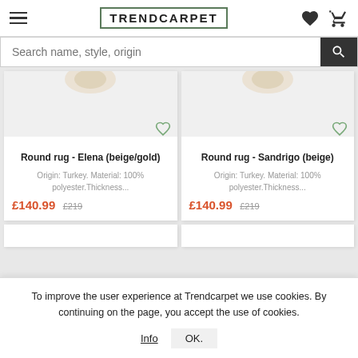TRENDCARPET
Search name, style, origin
Round rug - Elena (beige/gold)
Origin: Turkey. Material: 100% polyester.Thickness...
£140.99  £219
Round rug - Sandrigo (beige)
Origin: Turkey. Material: 100% polyester.Thickness...
£140.99  £219
To improve the user experience at Trendcarpet we use cookies. By continuing on the page, you accept the use of cookies.
Info  OK.